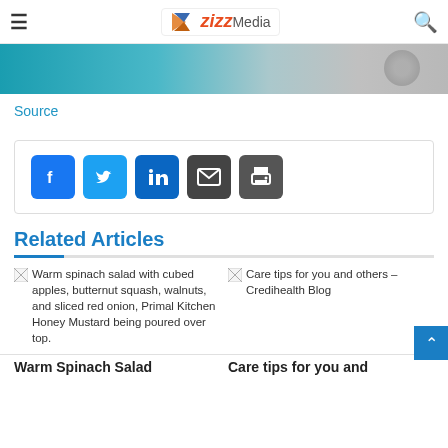zizz Media
[Figure (photo): Website header image strip with teal/blue gradient and circular element on right]
Source
[Figure (infographic): Social share buttons: Facebook, Twitter, LinkedIn, Email, Print]
Related Articles
[Figure (photo): Warm spinach salad with cubed apples, butternut squash, walnuts, and sliced red onion, Primal Kitchen Honey Mustard being poured over top.]
[Figure (photo): Care tips for you and others – Credihealth Blog]
Warm Spinach Salad
Care tips for you and